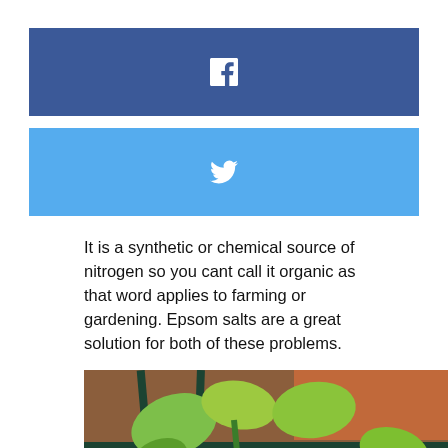[Figure (logo): Facebook share button - dark blue rectangle with white 'f' icon]
[Figure (logo): Twitter share button - light blue rectangle with white bird icon]
It is a synthetic or chemical source of nitrogen so you cant call it organic as that word applies to farming or gardening. Epsom salts are a great solution for both of these problems.
[Figure (photo): Close-up photo of tomato plant with yellowing leaves climbing on a dark green metal garden stake/fence, with soil and a terracotta pot visible in the background]